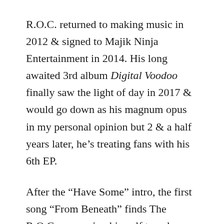R.O.C. returned to making music in 2012 & signed to Majik Ninja Entertainment in 2014. His long awaited 3rd album Digital Voodoo finally saw the light of day in 2017 & would go down as his magnum opus in my personal opinion but 2 & a half years later, he’s treating fans with his 6th EP.
After the “Have Some” intro, the first song “From Beneath” finds The R.O.C. comparing himself to a demon to over an orchestral trap beat. The track “A Dream” talks about being in a nightmare over a frightening instrumental from Eric Davie while the song “The Chase” talks about being hunted down over a demented instrumental. And then before the “Next Time” outro, the title track paints a vivid picture of